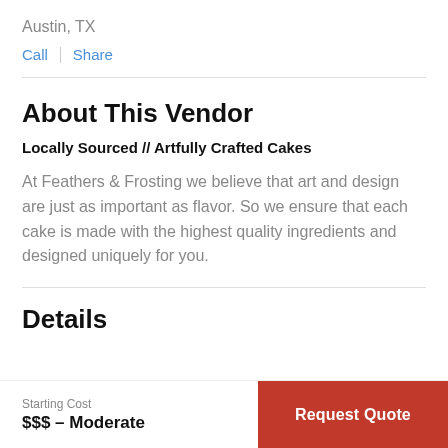Austin, TX
Call  |  Share
About This Vendor
Locally Sourced // Artfully Crafted Cakes
At Feathers & Frosting we believe that art and design are just as important as flavor. So we ensure that each cake is made with the highest quality ingredients and designed uniquely for you.
Details
Starting Cost
$$$ – Moderate
Request Quote